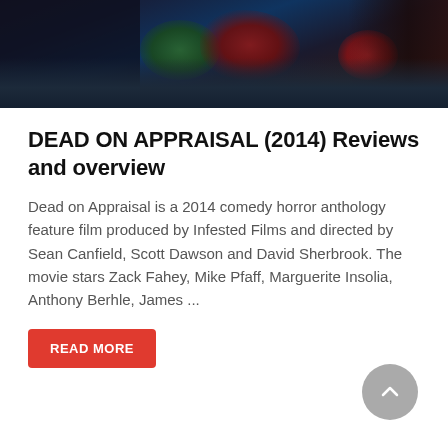[Figure (photo): Dark horror movie still image showing figures in dark clothing with green and red colored elements, likely a zombie or horror scene]
DEAD ON APPRAISAL (2014) Reviews and overview
Dead on Appraisal is a 2014 comedy horror anthology feature film produced by Infested Films and directed by Sean Canfield, Scott Dawson and David Sherbrook. The movie stars Zack Fahey, Mike Pfaff, Marguerite Insolia, Anthony Berhle, James ...
READ MORE